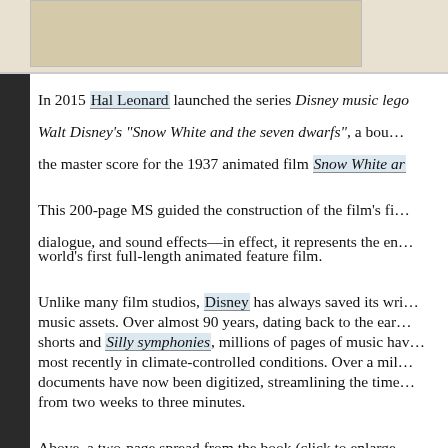[Figure (photo): Top portion of a scanned document or book page image, partially visible at the top of the page.]
In 2015 Hal Leonard launched the series Disney music lego… Walt Disney's "Snow White and the seven dwarfs", a bou… the master score for the 1937 animated film Snow White ar…
This 200-page MS guided the construction of the film's fi… dialogue, and sound effects—in effect, it represents the en… world's first full-length animated feature film.
Unlike many film studios, Disney has always saved its wri… music assets. Over almost 90 years, dating back to the ear… shorts and Silly symphonies, millions of pages of music hav… most recently in climate-controlled conditions. Over a mil… documents have now been digitized, streamlining the time… from two weeks to three minutes.
Above, a two-page spread from the book (click to enlarge…